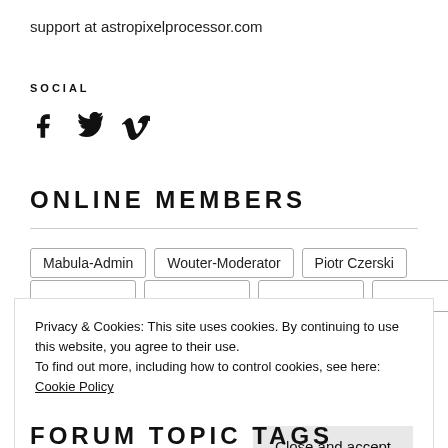support at astropixelprocessor.com
SOCIAL
[Figure (illustration): Three social media icons: Facebook, Twitter, Vimeo]
ONLINE MEMBERS
Mabula-Admin
Wouter-Moderator
Piotr Czerski
Privacy & Cookies: This site uses cookies. By continuing to use this website, you agree to their use.
To find out more, including how to control cookies, see here: Cookie Policy
Close and accept
FORUM TOPIC TAGS